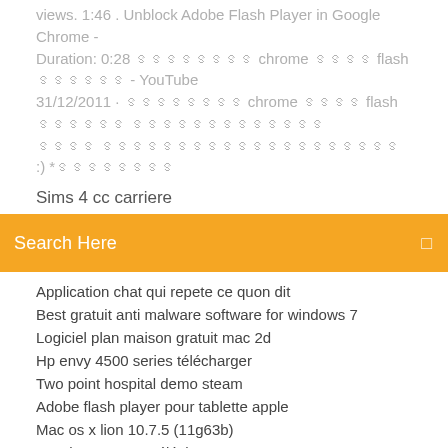views. 1:46 . Unblock Adobe Flash Player in Google Chrome - Duration: 0:28 ꯱꯱꯱꯱꯱꯱꯱꯱ chrome ꯱꯱꯱꯱ flash ꯱꯱꯱꯱꯱꯱ - YouTube 31/12/2011 · ꯱꯱꯱꯱꯱꯱꯱꯱ chrome ꯱꯱꯱꯱ flash ꯱꯱꯱꯱꯱꯱ ꯱꯱꯱꯱꯱꯱꯱꯱꯱꯱꯱꯱꯱ ꯱꯱꯱꯱ ꯱꯱꯱꯱꯱꯱꯱꯱꯱꯱꯱꯱꯱꯱꯱꯱꯱꯱꯱꯱ :) *꯱꯱꯱꯱꯱꯱꯱꯱
Sims 4 cc carriere
Search Here
Application chat qui repete ce quon dit
Best gratuit anti malware software for windows 7
Logiciel plan maison gratuit mac 2d
Hp envy 4500 series télécharger
Two point hospital demo steam
Adobe flash player pour tablette apple
Mac os x lion 10.7.5 (11g63b)
Mpc-hc mac os x télécharger
Application amazon prime video pour pc
Logiciel de reparation pc portable gratuit